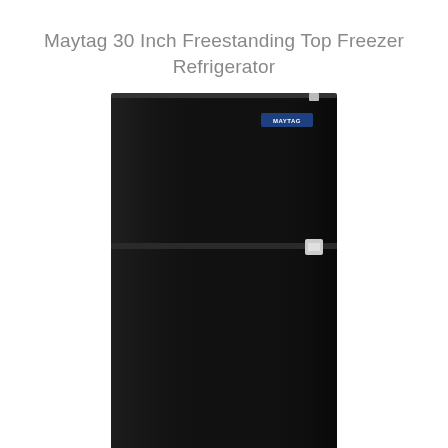Maytag 30 Inch Freestanding Top Freezer Refrigerator
[Figure (photo): Front view of a Maytag 30 Inch Freestanding Top Freezer Refrigerator in black. The refrigerator has two compartments: a smaller freezer section on top and a larger refrigerator section on the bottom. A hinge and latch mechanism is visible between the two doors on the right side. The Maytag logo badge is visible in the upper right of the freezer door. Small silver-toned feet are visible at the bottom corners.]